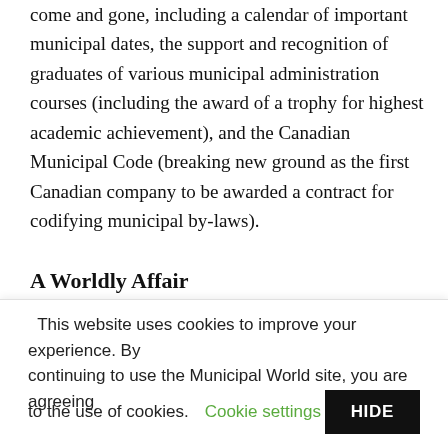come and gone, including a calendar of important municipal dates, the support and recognition of graduates of various municipal administration courses (including the award of a trophy for highest academic achievement), and the Canadian Municipal Code (breaking new ground as the first Canadian company to be awarded a contract for codifying municipal by-laws).
A Worldly Affair
The Municipal Miscellan...
This website uses cookies to improve your experience. By continuing to use the Municipal World site, you are agreeing to the use of cookies. Cookie settings HIDE